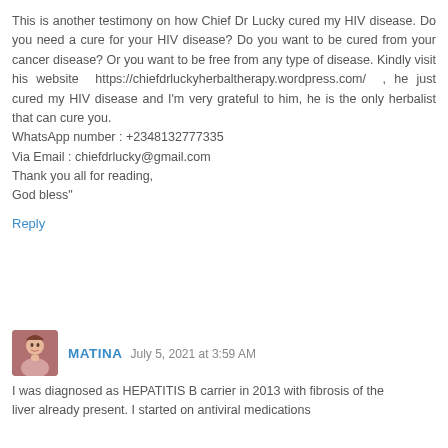This is another testimony on how Chief Dr Lucky cured my HIV disease. Do you need a cure for your HIV disease? Do you want to be cured from your cancer disease? Or you want to be free from any type of disease. Kindly visit his website  https://chiefdrluckyherbaltherapy.wordpress.com/  , he just cured my HIV disease and I'm very grateful to him, he is the only herbalist that can cure you.
WhatsApp number : +2348132777335
Via Email : chiefdrlucky@gmail.com
Thank you all for reading,
God bless"
Reply
MATINA  July 5, 2021 at 3:59 AM
I was diagnosed as HEPATITIS B carrier in 2013 with fibrosis of the liver already present. I started on antiviral medications